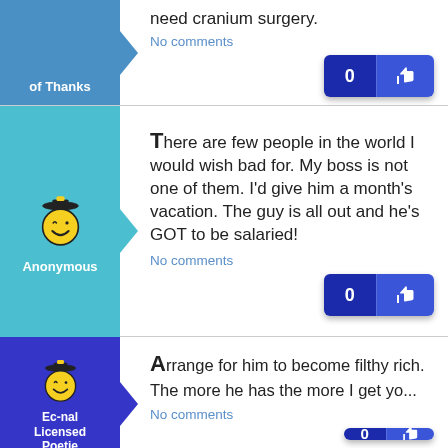of Thanks
need cranium surgery.
No comments
[Figure (illustration): Anonymous user avatar: winking smiley face with graduation cap]
Anonymous
There are few people in the world I would wish bad for. My boss is not one of them. I'd give him a month's vacation. The guy is all out and he's GOT to be salaried!
No comments
[Figure (illustration): Ec-nal Licensed Poetie user avatar: winking smiley face with graduation cap]
Ec-nal
Licensed
Poetie
Arrange for him to become filthy rich. The more he has the more I get yo...
No comments